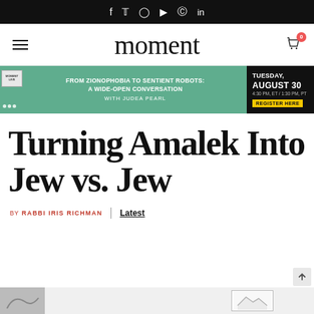moment - social media icons bar (f, twitter, instagram, youtube, pinterest, linkedin)
moment
[Figure (infographic): Banner ad: FROM ZIONOPHOBIA TO SENTIENT ROBOTS: A WIDE-OPEN CONVERSATION with Judea Pearl | TUESDAY, AUGUST 30 4:30 PM, ET / 1:30 PM, PT | REGISTER HERE]
Turning Amalek Into Jew vs. Jew
BY RABBI IRIS RICHMAN | Latest